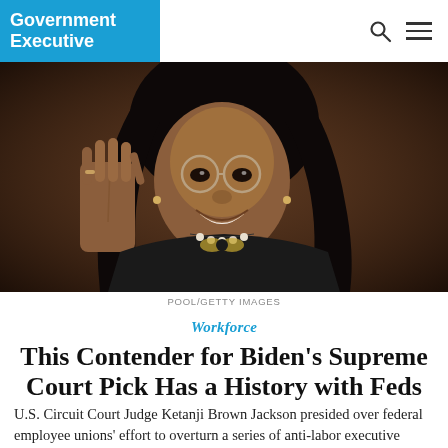Government Executive
[Figure (photo): U.S. Circuit Court Judge Ketanji Brown Jackson raising her right hand, smiling, wearing glasses and a black jacket with a floral necklace, dark background]
POOL/GETTY IMAGES
Workforce
This Contender for Biden's Supreme Court Pick Has a History with Feds
U.S. Circuit Court Judge Ketanji Brown Jackson presided over federal employee unions' effort to overturn a series of anti-labor executive orders during her tenure at the